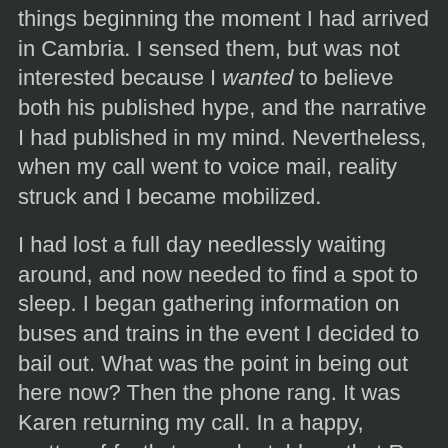things beginning the moment I had arrived in Cambria. I sensed them, but was not interested because I wanted to believe both his published hype, and the narrative I had published in my mind. Nevertheless, when my call went to voice mail, reality struck and I became mobilized.
I had lost a full day needlessly waiting around, and now needed to find a spot to sleep. I began gathering information on buses and trains in the event I decided to bail out. What was the point in being out here now? Then the phone rang. It was Karen returning my call. In a happy, matter-of-factly tone, she told me that Ray had left my food in a plastic bag on the dune we occupied the night before.
Remember the tent? There was a plastic bag sitting next to it all day long, but I paid no attention assuming it belonged to whoever was inside. Seeing that the tenters had left it when they had gone, I trekked over to see that it was indeed my grub. I also now realized that, knowing my whereabouts, they must have dropped it off almost immediately after leaving  McDonalds so Ray would not have to deal with me face-to-face.